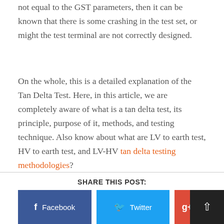not equal to the GST parameters, then it can be known that there is some crashing in the test set, or might the test terminal are not correctly designed.
On the whole, this is a detailed explanation of the Tan Delta Test. Here, in this article, we are completely aware of what is a tan delta test, its principle, purpose of it, methods, and testing technique. Also know about what are LV to earth test, HV to earth test, and LV-HV tan delta testing methodologies?
SHARE THIS POST:
Facebook
Twitter
Googl